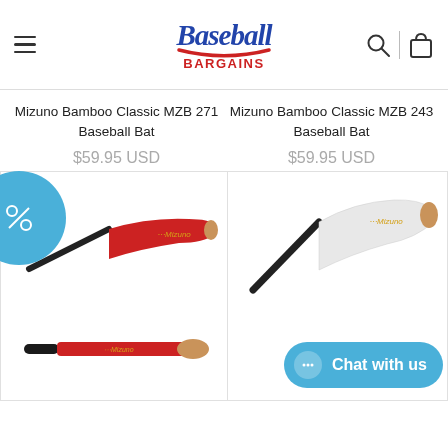Baseball Bargains
Mizuno Bamboo Classic MZB 271 Baseball Bat
$59.95 USD
Mizuno Bamboo Classic MZB 243 Baseball Bat
$59.95 USD
[Figure (photo): Red Mizuno bamboo baseball bat (MZB 271) shown twice — angled and straight view]
[Figure (photo): White Mizuno bamboo baseball bat (MZB 243) shown at angle, with 'Chat with us' overlay button]